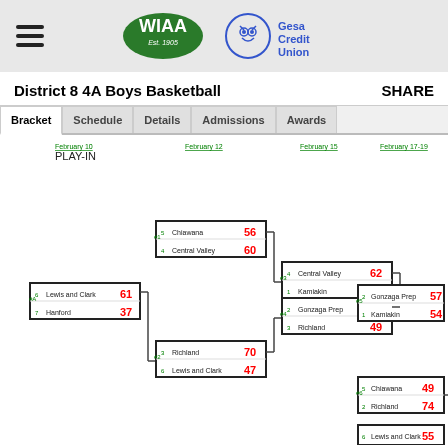[Figure (logo): WIAA Est. 1905 and Gesa Credit Union logos in header bar]
District 8 4A Boys Basketball
SHARE
Bracket | Schedule | Details | Admissions | Awards
[Figure (flowchart): Tournament bracket for District 8 4A Boys Basketball showing play-in and subsequent rounds with scores. February 10 PLAY-IN: Lewis and Clark 61, Hanford 37. February 12: Richland 70, Lewis and Clark 47; Chiawana 56, Central Valley 60. February 15: Central Valley 62, Kamiakin 65; Gonzaga Prep 64, Richland 49. February 17-19: Gonzaga Prep 57, Kamiakin 54; Chiawana 49, Richland 74; Lewis and Clark 55.]